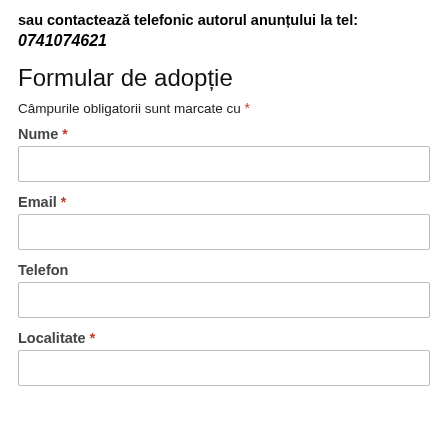sau contactează telefonic autorul anunțului la tel:
0741074621
Formular de adopție
Câmpurile obligatorii sunt marcate cu *
Nume *
Email *
Telefon
Localitate *